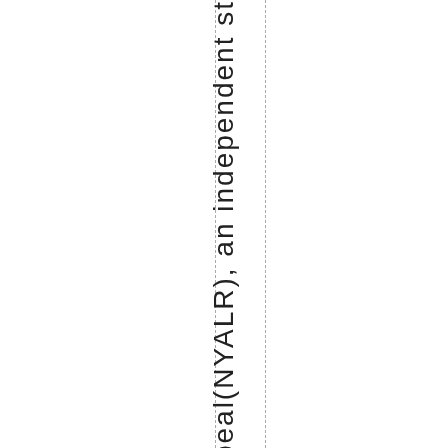wRepeal(NYALR), an independent st